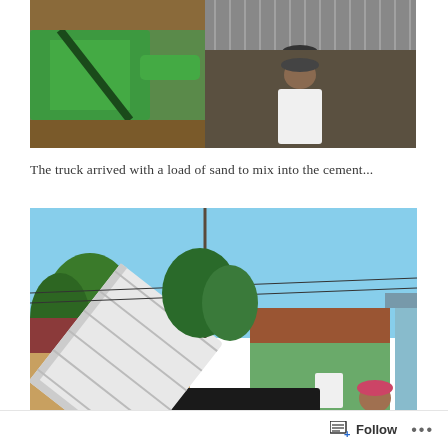[Figure (photo): Two people visible: left side shows a person in green jacket/clothing with a strap, wooden background; right side shows a man in white shirt/uniform, with corrugated metal roof visible]
The truck arrived with a load of sand to mix into the cement...
[Figure (photo): A dump truck with its bed raised, dumping sand on a street. A green building visible in background, a man in pink/red cap and blue shirt standing to the right. Tropical setting with trees and blue sky.]
Advertisements
[Figure (screenshot): DuckDuckGo advertisement banner with orange background showing text 'Search, browse, and email with more privacy.' with 'All in One Free App' button and phone mockup on right side]